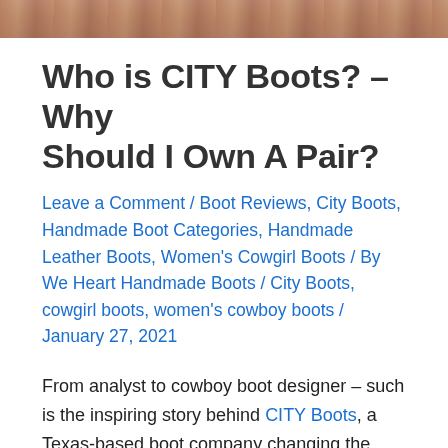[Figure (photo): Partial view of colorful cowboy boots at the top of the page, cropped strip showing leather texture in warm brown and red tones.]
Who is CITY Boots? – Why Should I Own A Pair?
Leave a Comment / Boot Reviews, City Boots, Handmade Boot Categories, Handmade Leather Boots, Women's Cowgirl Boots / By We Heart Handmade Boots / City Boots, cowgirl boots, women's cowboy boots / January 27, 2021
From analyst to cowboy boot designer – such is the inspiring story behind CITY Boots, a Texas-based boot company changing the face of cowboy boots for women.